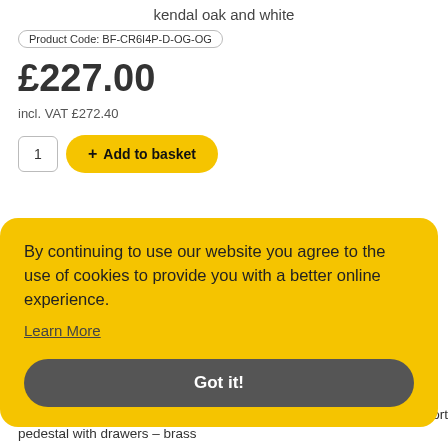kendal oak and white
Product Code: BF-CR6I4P-D-OG-OG
£227.00
incl. VAT £272.40
[Figure (screenshot): Quantity selector showing '1' and Add to basket button with yellow background]
By continuing to use our website you agree to the use of cookies to provide you with a better online experience.
Learn More
Got it!
Cairo straight desk 1400mm x 600mm with sleigh frame leg and support pedestal with drawers – brass